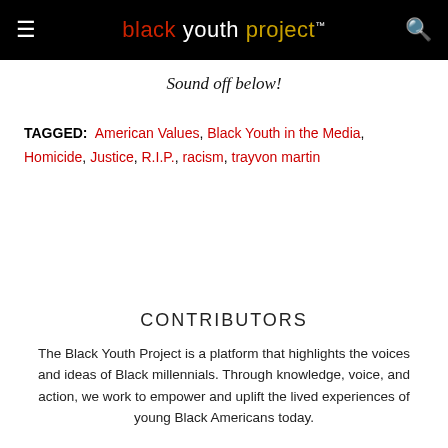black youth project™
Sound off below!
TAGGED: American Values, Black Youth in the Media, Homicide, Justice, R.I.P., racism, trayvon martin
CONTRIBUTORS
The Black Youth Project is a platform that highlights the voices and ideas of Black millennials. Through knowledge, voice, and action, we work to empower and uplift the lived experiences of young Black Americans today.